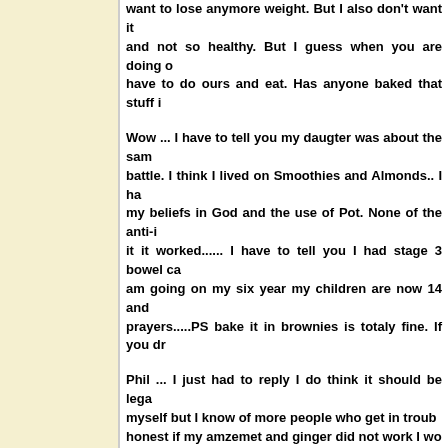want to lose anymore weight. But I also don't want it and not so healthy. But I guess when you are doing o have to do ours and eat. Has anyone baked that stuff i
Wow ... I have to tell you my daugter was about the sam battle. I think I lived on Smoothies and Almonds.. I ha my beliefs in God and the use of Pot. None of the anti-i it it worked...... I have to tell you I had stage 3 bowel ca am going on my six year my children are now 14 and prayers.....PS bake it in brownies is totaly fine. If you dr
Phil ... I just had to reply I do think it should be lega myself but I know of more people who get in troub honest if my amzemet and ginger did not work I wo goverment is not always right
... Baking | Here's a recipe. You make butter with it, the it is still kind of bitter, so use lots of sweet frosting, b icing works good. Take a pound or 2 of real butter, simmer several hours. Squeeze and squeeze and sq liquid in fridge, the butter rises to top. VERY potent, on for some. And it doesn't hit you till about an hour aft what we did before a concert, then during the concert with it on you. This works good with scrap weed, the s sticks and stems too. It is not too good if you just ad and bitter, though used to crisp a bit up in frying pan too (bad teenager's lunch trick) Ahhh the 70's. >> Read
Medical Cannabis - Patients Out of Time | A o organization ... Cancer; Gastrointestinal; ... 2015 at the West Palm    Patients Out of Time is now partnering w